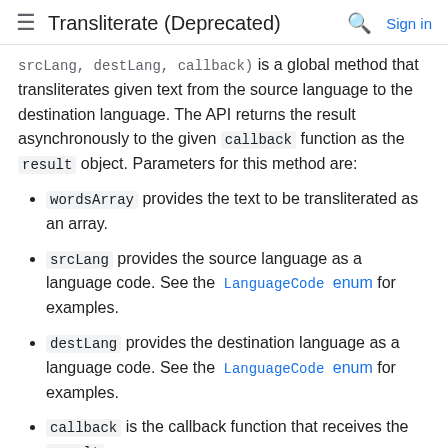Transliterate (Deprecated)
srcLang, destLang, callback) is a global method that transliterates given text from the source language to the destination language. The API returns the result asynchronously to the given callback function as the result object. Parameters for this method are:
wordsArray provides the text to be transliterated as an array.
srcLang provides the source language as a language code. See the LanguageCode enum for examples.
destLang provides the destination language as a language code. See the LanguageCode enum for examples.
callback is the callback function that receives the result.